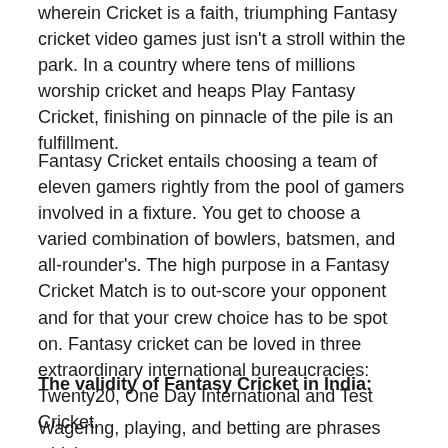wherein Cricket is a faith, triumphing Fantasy cricket video games just isn't a stroll within the park. In a country where tens of millions worship cricket and heaps Play Fantasy Cricket, finishing on pinnacle of the pile is an fulfillment.
Fantasy Cricket entails choosing a team of eleven gamers rightly from the pool of gamers involved in a fixture. You get to choose a varied combination of bowlers, batsmen, and all-rounder's. The high purpose in a Fantasy Cricket Match is to out-score your opponent and for that your crew choice has to be spot on. Fantasy cricket can be loved in three extraordinary international bureaucracies: Twenty20, One Day International and Test Cricket.
The validity of Fantasy Cricket in India:
Wagering, playing, and betting are phrases which are